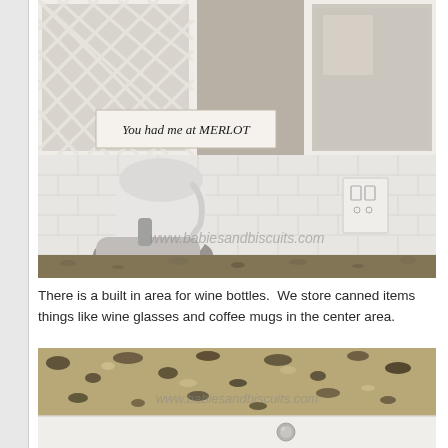[Figure (photo): Kitchen photo showing white subway tile backsplash, white KitchenAid stand mixer on granite countertop, upper cabinets with lattice detail, a sign reading 'You had me at MERLOT', and a wall outlet. Watermark reads www.babiesandbiscuits.com]
There is a built in area for wine bottles.  We store canned items things like wine glasses and coffee mugs in the center area.
[Figure (photo): Close-up photo of granite countertop with speckled brown, black and cream pattern, with white cabinet drawer below and a silver knob. Watermark reads www.babiesandbiscuits.com]